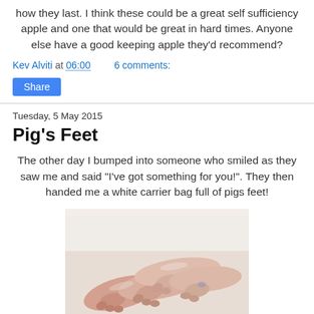how they last. I think these could be a great self sufficiency apple and one that would be great in hard times. Anyone else have a good keeping apple they'd recommend?
Kev Alviti at 06:00   6 comments:
Share
Tuesday, 5 May 2015
Pig's Feet
The other day I bumped into someone who smiled as they saw me and said "I've got something for you!". They then handed me a white carrier bag full of pigs feet!
[Figure (photo): A pile of raw pig's feet/trotters on white paper, pinkish-white in color with visible toes and skin]